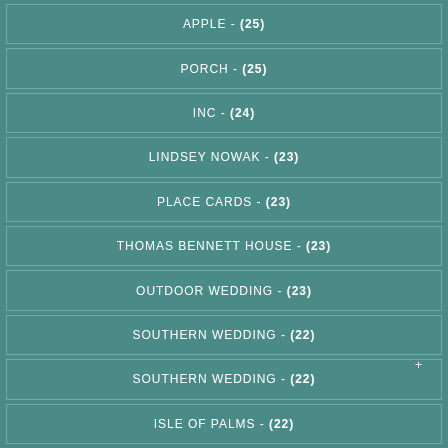APPLE - (25)
PORCH - (25)
INC - (24)
LINDSEY NOWAK - (23)
PLACE CARDS - (23)
THOMAS BENNETT HOUSE - (23)
OUTDOOR WEDDING - (23)
SOUTHERN WEDDING - (22)
SOUTHERN WEDDING - (22)
ISLE OF PALMS - (22)